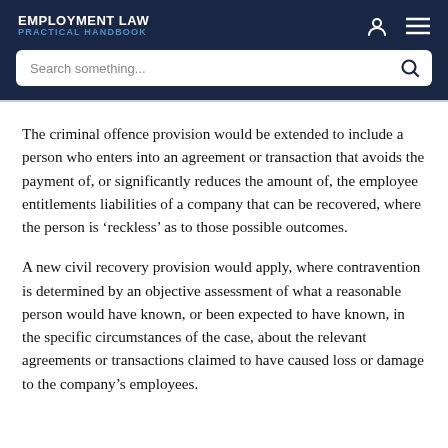EMPLOYMENT LAW PRACTICAL HANDBOOK
The criminal offence provision would be extended to include a person who enters into an agreement or transaction that avoids the payment of, or significantly reduces the amount of, the employee entitlements liabilities of a company that can be recovered, where the person is ‘reckless’ as to those possible outcomes.
A new civil recovery provision would apply, where contravention is determined by an objective assessment of what a reasonable person would have known, or been expected to have known, in the specific circumstances of the case, about the relevant agreements or transactions claimed to have caused loss or damage to the company’s employees.